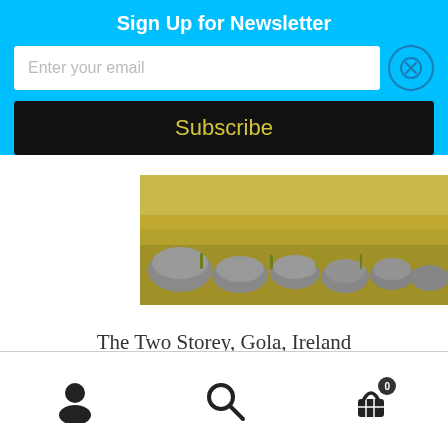Sign Up for Newsletter
Enter your email
Subscribe
[Figure (photo): Painting of large rocks/boulders in a grassy field with golden grass, landscape artwork.]
The Two Storey, Gola, Ireland
£180.00
Read more
User icon, Search icon, Cart icon with badge 0